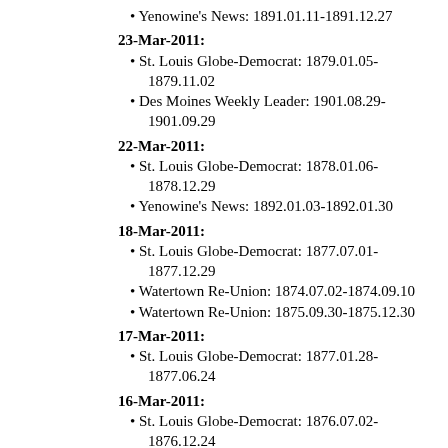Yenowine's News: 1891.01.11-1891.12.27
23-Mar-2011:
St. Louis Globe-Democrat: 1879.01.05-1879.11.02
Des Moines Weekly Leader: 1901.08.29-1901.09.29
22-Mar-2011:
St. Louis Globe-Democrat: 1878.01.06-1878.12.29
Yenowine's News: 1892.01.03-1892.01.30
18-Mar-2011:
St. Louis Globe-Democrat: 1877.07.01-1877.12.29
Watertown Re-Union: 1874.07.02-1874.09.10
Watertown Re-Union: 1875.09.30-1875.12.30
17-Mar-2011:
St. Louis Globe-Democrat: 1877.01.28-1877.06.24
16-Mar-2011:
St. Louis Globe-Democrat: 1876.07.02-1876.12.24
14-Mar-2011:
St. Louis Globe-Democrat: 1875.10.03-